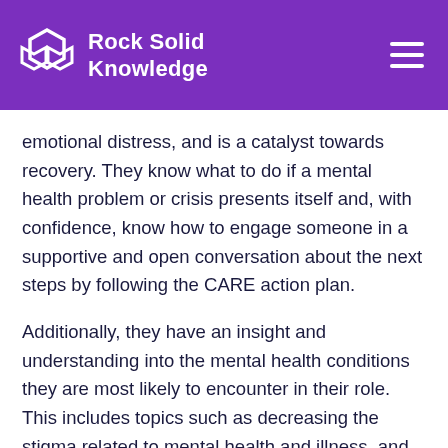Rock Solid Knowledge
emotional distress, and is a catalyst towards recovery. They know what to do if a mental health problem or crisis presents itself and, with confidence, know how to engage someone in a supportive and open conversation about the next steps by following the CARE action plan.
Additionally, they have an insight and understanding into the mental health conditions they are most likely to encounter in their role. This includes topics such as decreasing the stigma related to mental health and illness, and